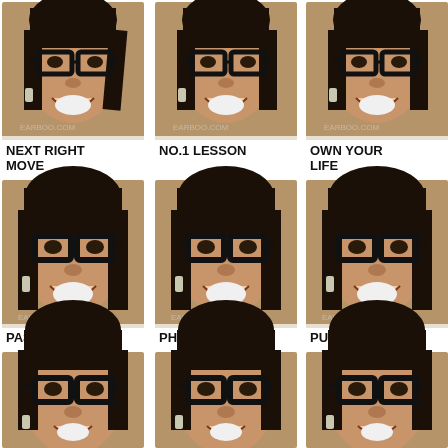[Figure (photo): Grid of 9 repeated photos of a woman with glasses and large earrings, smiling, with watermark EARBOO.COM. Each photo labeled below with bold text.]
NEXT RIGHT MOVE
NO.1 LESSON
OWN YOUR LIFE
PASSION
PHONE
PURPOSE